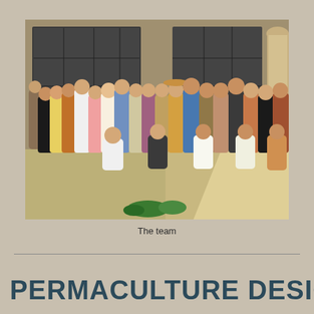[Figure (photo): A group photo of approximately 30 people standing and crouching in front of a stone/concrete building with large windows. They appear to be outdoors on sandy ground with some green plants visible. The photo is taken in a warm, sunny setting.]
The team
PERMACULTURE DESIGN